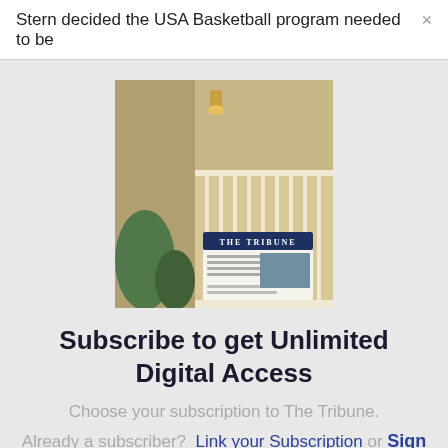Stern decided the USA Basketball program needed to be
[Figure (photo): Newspaper 'The Tribune' on a porch doorstep]
Subscribe to get Unlimited Digital Access
Choose your subscription to The Tribune.
Already a subscriber?  Link your Subscription or Sign in here
Subscribe